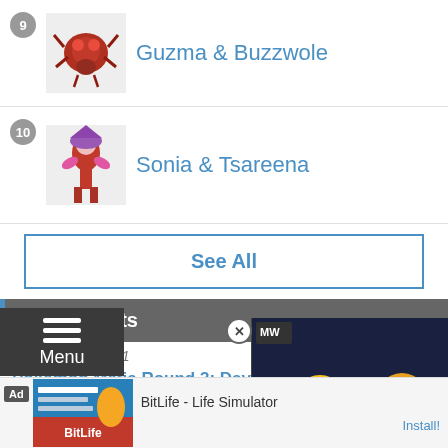9 Guzma & Buzzwole
10 Sonia & Tsareena
See All
Latest Posts
07/15/2022 - 00:11
Pokémon Mafia Round 3: Day T :pkmn_wooperimposter:
since NOBODY ELSE did it and it's been johto ...
[Figure (screenshot): Video ad overlay showing SpongeBob The Cosmic Shake Gameplay with MW (Next Level) logo and play button]
07/01/2022 - 22:21
Pokémon Mafia Round 3 Night Thread - Lavender Town
[Figure (screenshot): BitLife - Life Simulator advertisement banner with BitLife logo and Install button]